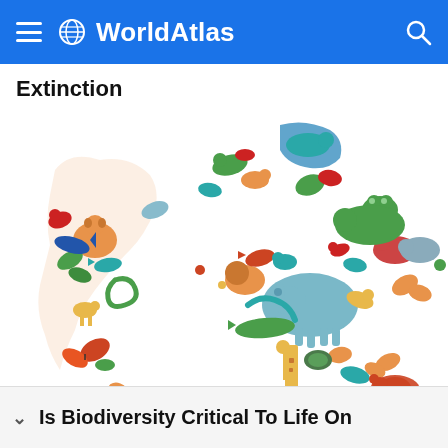WorldAtlas
Extinction
[Figure (illustration): A world map made up of colorful illustrated animals (elephant, giraffe, crocodile, parrot, butterfly, snake, bear, frog, deer, fox, shark, turtle, and many more) arranged in the shapes of the continents, representing biodiversity and wildlife across the globe. Animals are rendered in bright colors including orange, teal, green, red, yellow, and blue.]
Is Biodiversity Critical To Life On